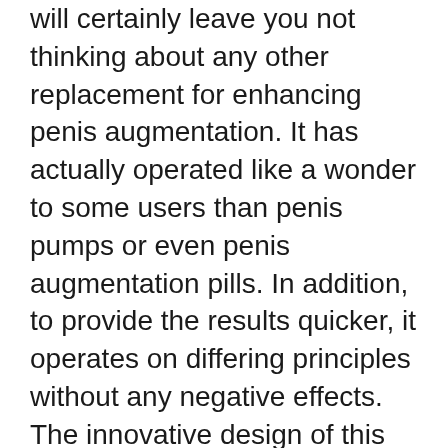will certainly leave you not thinking about any other replacement for enhancing penis augmentation. It has actually operated like a wonder to some users than penis pumps or even penis augmentation pills. In addition, to provide the results quicker, it operates on differing principles without any negative effects. The innovative design of this tool includes no chemicals. Additionally, it avoids premature ejaculation, improves fast as well as acid rocks. It boosts the dimension of your penis by 3 inches as well as solutions curvature.
Stats from research study carried out show that this tool can boost the penis length maximally. I likewise aid to establish the gravity of enjoyment. In ancient ages, the